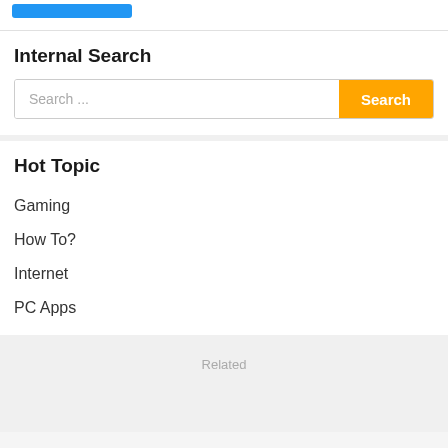[Figure (other): Blue button/banner at the top of the page]
Internal Search
[Figure (other): Search bar with placeholder text 'Search ...' and an orange 'Search' button]
Hot Topic
Gaming
How To?
Internet
PC Apps
Related